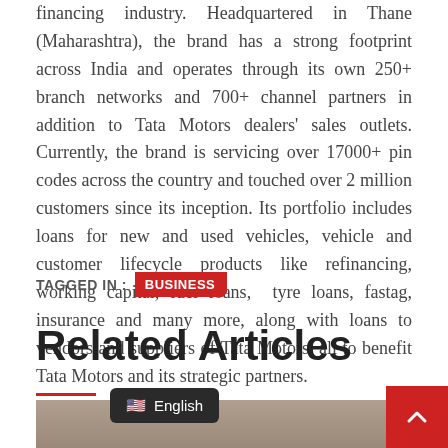financing industry. Headquartered in Thane (Maharashtra), the brand has a strong footprint across India and operates through its own 250+ branch networks and 700+ channel partners in addition to Tata Motors dealers' sales outlets. Currently, the brand is servicing over 17000+ pin codes across the country and touched over 2 million customers since its inception. Its portfolio includes loans for new and used vehicles, vehicle and customer lifecycle products like refinancing, working capital, fuel loans, tyre loans, fastag, insurance and many more, along with loans to vendors and suppliers of Tata Motors, all to benefit Tata Motors and its strategic partners.
TAGGED IN : BUSINESS
Related Articles
[Figure (photo): Article thumbnail image showing a person, partially visible at the bottom of the page]